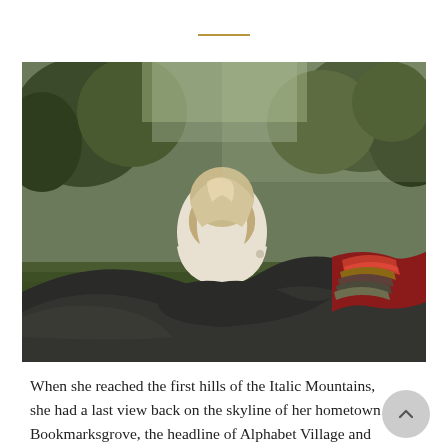[Figure (photo): A woman with light hair, seen from behind, wrapped in a large dark blanket with colorful stripes, sitting in a field with trees in the background.]
When she reached the first hills of the Italic Mountains, she had a last view back on the skyline of her hometown Bookmarksgrove, the headline of Alphabet Village and the subline of her own road, the Line Lane. Pitiful a rhetoric